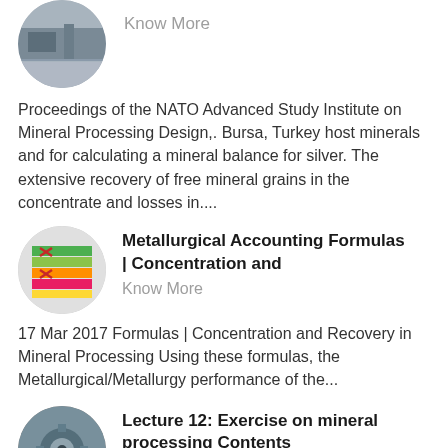[Figure (photo): Circular thumbnail image of industrial/mining equipment (grey tones, warehouse-like), with 'Know More' text beside it]
Proceedings of the NATO Advanced Study Institute on Mineral Processing Design,. Bursa, Turkey host minerals and for calculating a mineral balance for silver. The extensive recovery of free mineral grains in the concentrate and losses in....
[Figure (photo): Circular thumbnail of stacked coloured books/circuit boards (green, pink, yellow), accompanied by bold title 'Metallurgical Accounting Formulas | Concentration and' and 'Know More' link]
17 Mar 2017 Formulas | Concentration and Recovery in Mineral Processing Using these formulas, the Metallurgical/Metallurgy performance of the...
[Figure (photo): Circular thumbnail of gear/mechanical part, with bold title 'Lecture 12: Exercise on mineral processing Contents']